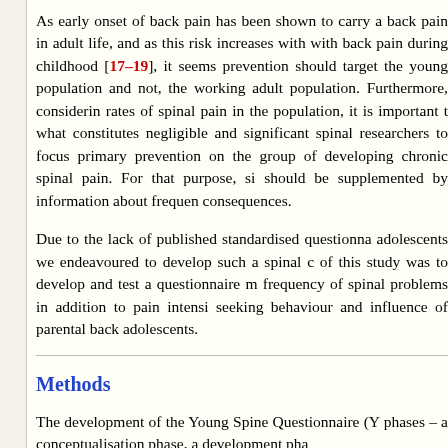As early onset of back pain has been shown to carry a back pain in adult life, and as this risk increases with with back pain during childhood [17–19], it seems prevention should target the young population and not, the working adult population. Furthermore, considerin rates of spinal pain in the population, it is important t what constitutes negligible and significant spinal researchers to focus primary prevention on the group of developing chronic spinal pain. For that purpose, si should be supplemented by information about frequen consequences.
Due to the lack of published standardised questionna adolescents we endeavoured to develop such a spinal c of this study was to develop and test a questionnaire m frequency of spinal problems in addition to pain intensi seeking behaviour and influence of parental back adolescents.
Methods
The development of the Young Spine Questionnaire (Y phases – a conceptualisation phase, a development pha